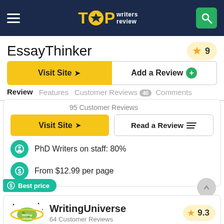TOP writers review
EssayThinker
9
Visit Site
Add a Review
Review
Features
Customer Reviews 40
Comments
95 Customer Reviews
Visit Site
Read a Review
PhD Writers on staff: 80%
From $12.99 per page
Best price
WritingUniverse
9.3
64 Customer Reviews